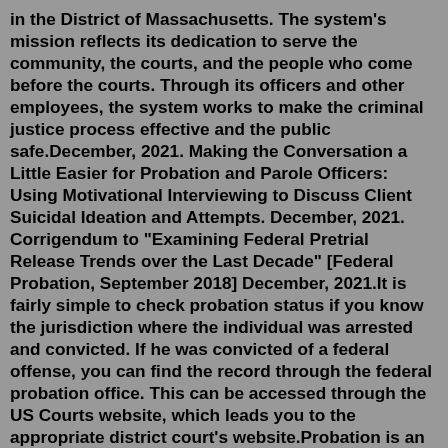in the District of Massachusetts. The system's mission reflects its dedication to serve the community, the courts, and the people who come before the courts. Through its officers and other employees, the system works to make the criminal justice process effective and the public safe.December, 2021. Making the Conversation a Little Easier for Probation and Parole Officers: Using Motivational Interviewing to Discuss Client Suicidal Ideation and Attempts. December, 2021. Corrigendum to "Examining Federal Pretrial Release Trends over the Last Decade" [Federal Probation, September 2018] December, 2021.It is fairly simple to check probation status if you know the jurisdiction where the individual was arrested and convicted. If he was convicted of a federal offense, you can find the record through the federal probation office. This can be accessed through the US Courts website, which leads you to the appropriate district court's website.Probation is an alternative or an adjunct to a jail or prison sentence. Some of the